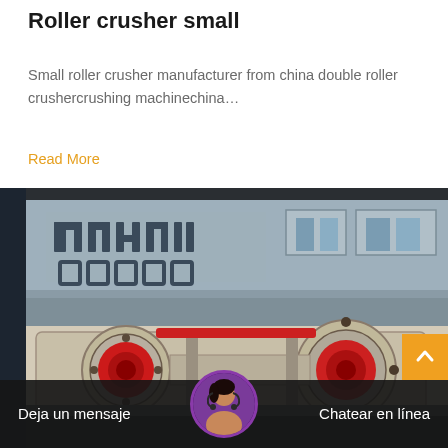Roller crusher small
Small roller crusher manufacturer from china double roller crushercrushing machinechina…
Read More
[Figure (photo): Industrial roller crusher machine photographed outdoors in front of a building facade with Cyrillic text signage. The machine is cream/beige colored with red circular elements and mechanical components visible.]
Deja un mensaje
Chatear en línea